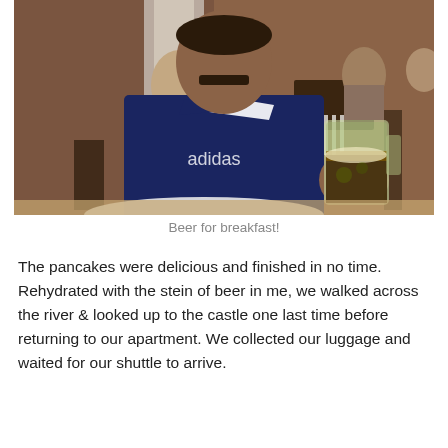[Figure (photo): A man wearing a dark blue Adidas sports jersey holding a large glass beer stein/mug in a restaurant setting. Other diners and wooden furniture visible in the background.]
Beer for breakfast!
The pancakes were delicious and finished in no time. Rehydrated with the stein of beer in me, we walked across the river & looked up to the castle one last time before returning to our apartment. We collected our luggage and waited for our shuttle to arrive.